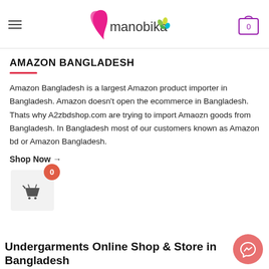manobika — navigation header with hamburger menu and cart icon showing 0
AMAZON BANGLADESH
Amazon Bangladesh is a largest Amazon product importer in Bangladesh. Amazon doesn't open the ecommerce in Bangladesh. Thats why A2zbdshop.com are trying to import Amaozn goods from Bangladesh. In Bangladesh most of our customers known as Amazon bd or Amazon Bangladesh.
Shop Now →
[Figure (screenshot): Shopping cart widget showing basket icon with red badge showing 0]
Undergarments Online Shop & Store in Bangladesh